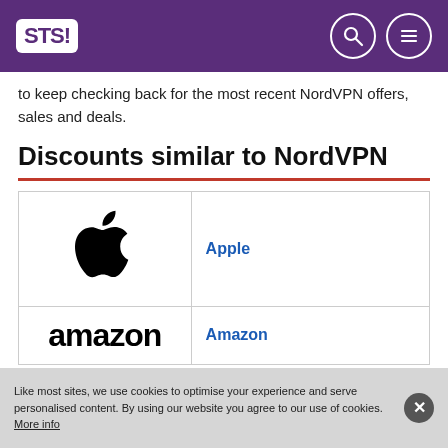STS!
to keep checking back for the most recent NordVPN offers, sales and deals.
Discounts similar to NordVPN
| Logo | Name |
| --- | --- |
| Apple logo | Apple |
| Amazon logo | Amazon |
Like most sites, we use cookies to optimise your experience and serve personalised content. By using our website you agree to our use of cookies. More info